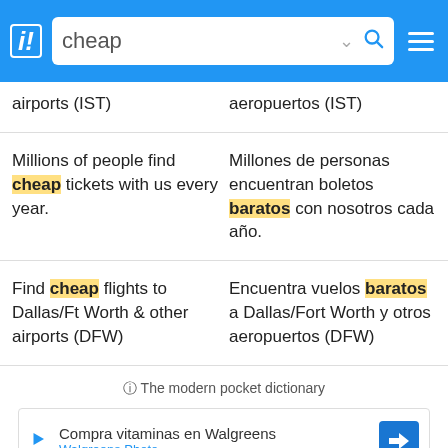cheap [search box]
airports (IST)
aeropuertos (IST)
Millions of people find cheap tickets with us every year.
Millones de personas encuentran boletos baratos con nosotros cada año.
Find cheap flights to Dallas/Ft Worth & other airports (DFW)
Encuentra vuelos baratos a Dallas/Fort Worth y otros aeropuertos (DFW)
ⓘ The modern pocket dictionary
Compra vitaminas en Walgreens Walgreens Photo